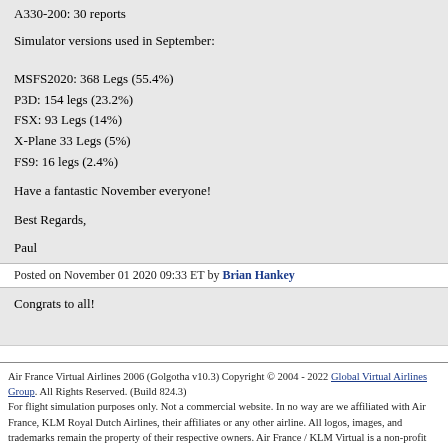A330-200: 30 reports
Simulator versions used in September:
MSFS2020: 368 Legs (55.4%)
P3D: 154 legs (23.2%)
FSX: 93 Legs (14%)
X-Plane 33 Legs (5%)
FS9: 16 legs (2.4%)
Have a fantastic November everyone!
Best Regards,
Paul
Posted on November 01 2020 09:33 ET by Brian Hankey
Congrats to all!
Air France Virtual Airlines 2006 (Golgotha v10.3) Copyright © 2004 - 2022 Global Virtual Airlines Group. All Rights Reserved. (Build 824.3)
For flight simulation purposes only. Not a commercial website. In no way are we affiliated with Air France, KLM Royal Dutch Airlines, their affiliates or any other airline. All logos, images, and trademarks remain the property of their respective owners. Air France / KLM Virtual is a non-profit entity engaged in providing an avenue for flight simulation enthusiasts.